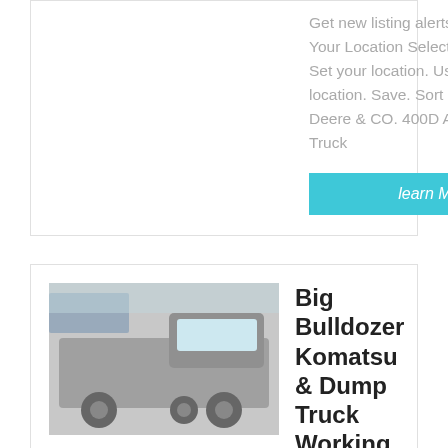Get new listing alerts. 1 2 3.. 58. Your Location Select your location. Set your location. Use my current location. Save. Sort by: 2010 John Deere & CO. 400D Articulated Dump Truck
learn More
[Figure (photo): Silver/grey semi truck cab parked on a road with trees in background]
Big Bulldozer Komatsu & Dump Truck Working Road
Kefid · [Thai text] · [Thai text] ค Bulldozer pushing dirt and